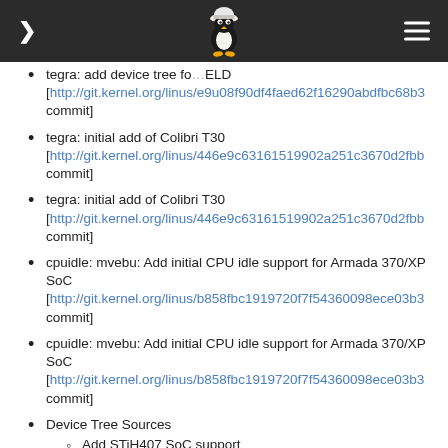[navigation header with Tux Linux mascot logo]
tegra: add device tree for ELD [http://git.kernel.org/linus/e9u08f90df4faed62f16290abdfbc68b3 commit]
tegra: initial add of Colibri T30 [http://git.kernel.org/linus/446e9c63161519902a251c3670d2fbb commit]
tegra: initial add of Colibri T30 [http://git.kernel.org/linus/446e9c63161519902a251c3670d2fbb commit]
cpuidle: mvebu: Add initial CPU idle support for Armada 370/XP SoC [http://git.kernel.org/linus/b858fbc1919720f7f54360098ece03b3 commit]
cpuidle: mvebu: Add initial CPU idle support for Armada 370/XP SoC [http://git.kernel.org/linus/b858fbc1919720f7f54360098ece03b3 commit]
Device Tree Sources
Add STiH407 SoC support [http://git.kernel.org/linus/f563a5718da590ac3fa4d7500f6 commit]